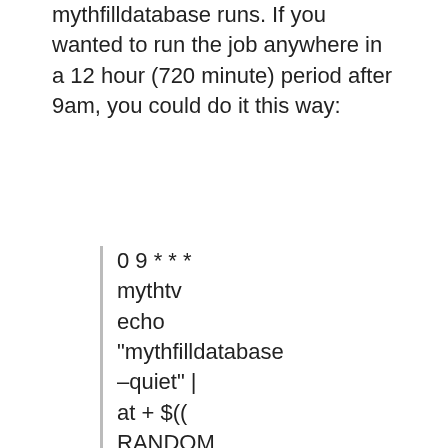mythfilldatabase runs. If you wanted to run the job anywhere in a 12 hour (720 minute) period after 9am, you could do it this way:
0 9 * * * mythtv echo "mythfilldatabase –quiet" | at + $(( RANDOM % 720 ))